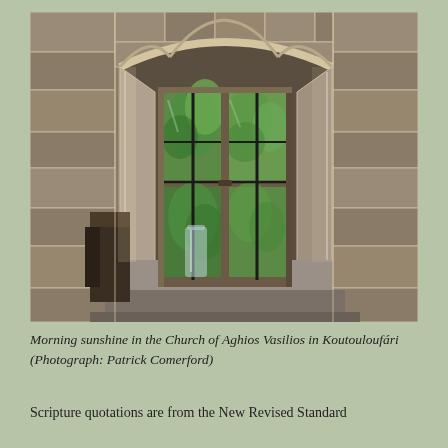[Figure (photo): A stone arched window alcove inside the Church of Aghios Vasilios in Koutouloufári. The window features two wooden doors with glass panes and iron bars, through which green tropical foliage is visible. A glass vase sits on the stone windowsill. Morning light illuminates the rough-hewn stone walls and arch.]
Morning sunshine in the Church of Aghios Vasilios in Koutouloufári (Photograph: Patrick Comerford)
Scripture quotations are from the New Revised Standard